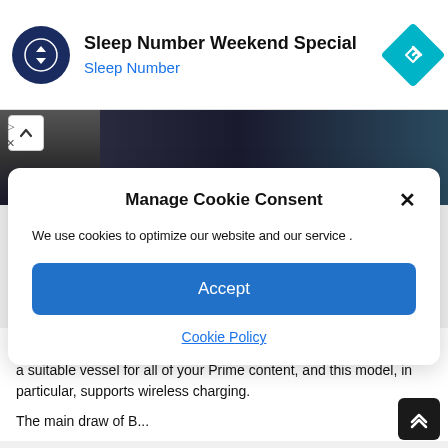[Figure (screenshot): Advertisement banner for Sleep Number Weekend Special with circular dark blue navigation icon on left, Sleep Number text and blue subtitle, and cyan diamond-shaped navigation icon on right]
[Figure (photo): Partial photo of Amazon Fire HD 8 Plus tablet device on a surface, showing the top portion of the device]
Manage Cookie Consent
We use cookies to optimize our website and our service .
Accept
Cookie Policy
Amazon's Fire HD 8 Plus packs a lot of value in for the money. It's a suitable vessel for all of your Prime content, and this model, in particular, supports wireless charging.
The main draw of Buy and above and Buill...